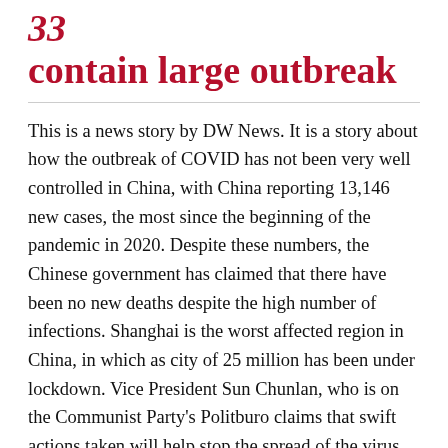contain large outbreak
This is a news story by DW News. It is a story about how the outbreak of COVID has not been very well controlled in China, with China reporting 13,146 new cases, the most since the beginning of the pandemic in 2020. Despite these numbers, the Chinese government has claimed that there have been no new deaths despite the high number of infections. Shanghai is the worst affected region in China, in which as city of 25 million has been under lockdown. Vice President Sun Chunlan, who is on the Communist Party's Politburo claims that swift actions taken will help stop the spread of the virus. In Beijing, there have been lockdowns, mass testing, and travel restrictions placed on the populace. Residents of Shanghai are worried about the lockdowns exceeding four days, as it will limit their ability to obtain fresh